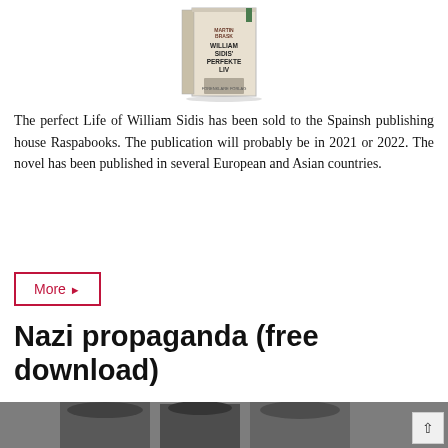[Figure (photo): Book cover of 'William Sidis' Perfekte Liv' by an author named Brask, showing a white book spine with text and a small figure image]
The perfect Life of William Sidis has been sold to the Spainsh publishing house Raspabooks. The publication will probably be in 2021 or 2022. The novel has been published in several European and Asian countries.
More ▶
Nazi propaganda (free download)
[Figure (photo): Black and white photograph showing Nazi military officers wearing caps with insignia]